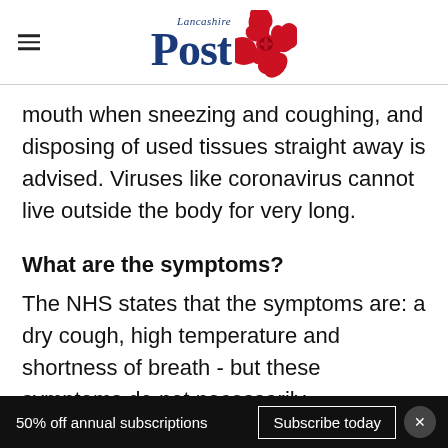Lancashire Post
mouth when sneezing and coughing, and disposing of used tissues straight away is advised. Viruses like coronavirus cannot live outside the body for very long.
What are the symptoms?
The NHS states that the symptoms are: a dry cough, high temperature and shortness of breath - but these symptoms do not necessarily
50% off annual subscriptions  Subscribe today